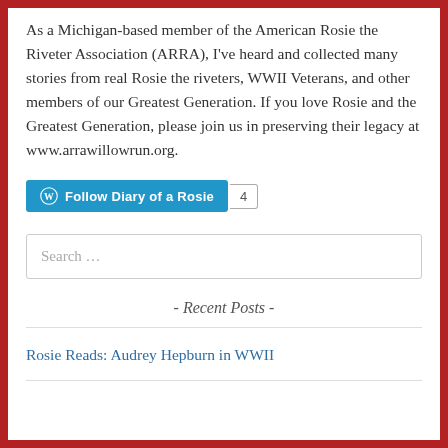As a Michigan-based member of the American Rosie the Riveter Association (ARRA), I've heard and collected many stories from real Rosie the riveters, WWII Veterans, and other members of our Greatest Generation. If you love Rosie and the Greatest Generation, please join us in preserving their legacy at www.arrawillowrun.org.
[Figure (other): WordPress Follow button with text 'Follow Diary of a Rosie' and a badge showing the number 4]
Search …
- Recent Posts -
Rosie Reads: Audrey Hepburn in WWII